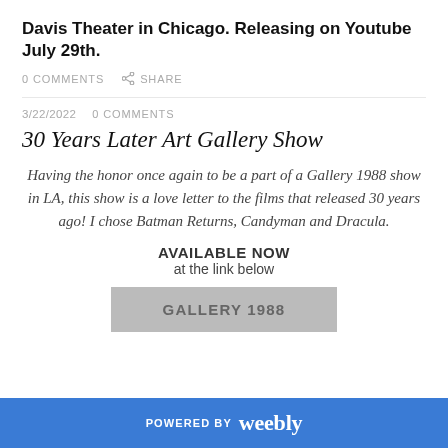Davis Theater in Chicago. Releasing on Youtube July 29th.
0 COMMENTS   SHARE
3/22/2022   0 COMMENTS
30 Years Later Art Gallery Show
Having the honor once again to be a part of a Gallery 1988 show in LA, this show is a love letter to the films that released 30 years ago! I chose Batman Returns, Candyman and Dracula.
AVAILABLE NOW
at the link below
GALLERY 1988
POWERED BY weebly